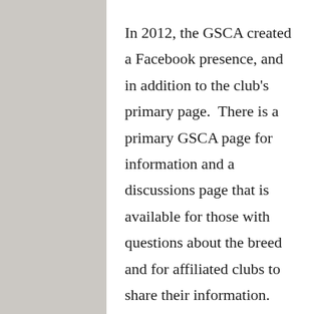In 2012, the GSCA created a Facebook presence, and in addition to the club's primary page.  There is a primary GSCA page for information and a discussions page that is available for those with questions about the breed and for affiliated clubs to share their information.